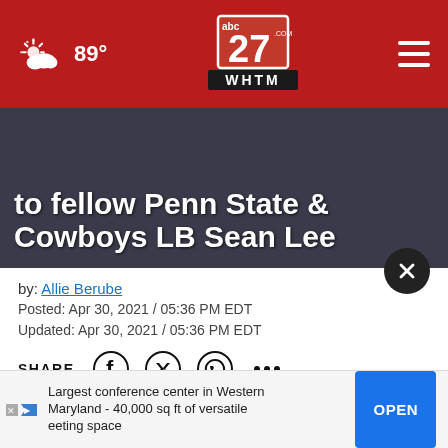abc27 WHTM — 89°
to fellow Penn State & Cowboys LB Sean Lee
by: Allie Berube
Posted: Apr 30, 2021 / 05:36 PM EDT
Updated: Apr 30, 2021 / 05:36 PM EDT
SHARE
When Sean Lee announced his retirement from the NFL on Monday, many thought fellow Penn State linebacker Micah Parsons could be a good fit the Cowboys
[Figure (other): Advertisement: Largest conference center in Western Maryland - 40,000 sq ft of versatile meeting space with OPEN button]